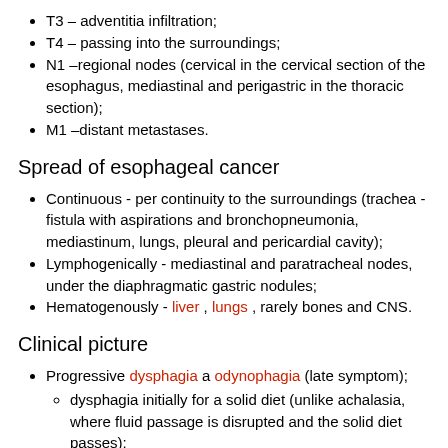T3 – adventitia infiltration;
T4 – passing into the surroundings;
N1 –regional nodes (cervical in the cervical section of the esophagus, mediastinal and perigastric in the thoracic section);
M1 –distant metastases.
Spread of esophageal cancer
Continuous - per continuity to the surroundings (trachea - fistula with aspirations and bronchopneumonia, mediastinum, lungs, pleural and pericardial cavity);
Lymphogenically - mediastinal and paratracheal nodes, under the diaphragmatic gastric nodules;
Hematogenously - liver , lungs , rarely bones and CNS.
Clinical picture
Progressive dysphagia a odynophagia (late symptom);
dysphagia initially for a solid diet (unlike achalasia, where fluid passage is disrupted and the solid diet passes);